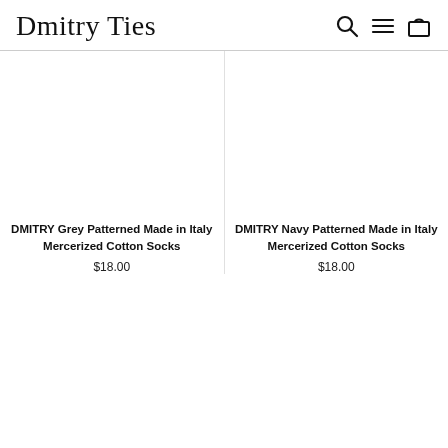Dmitry Ties
[Figure (photo): White/blank product image area for DMITRY Grey Patterned Made in Italy Mercerized Cotton Socks]
DMITRY Grey Patterned Made in Italy Mercerized Cotton Socks
$18.00
[Figure (photo): White/blank product image area for DMITRY Navy Patterned Made in Italy Mercerized Cotton Socks]
DMITRY Navy Patterned Made in Italy Mercerized Cotton Socks
$18.00